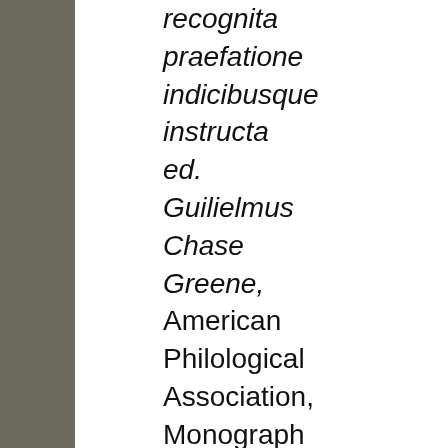recognita praefatione indicibusque instructa ed. Guilielmus Chase Greene, American Philological Association, Monograph VIII, Haverford College, Haverford, Pennsylvania, 1938 | reprint, Hildesheim (Olms Verlag)